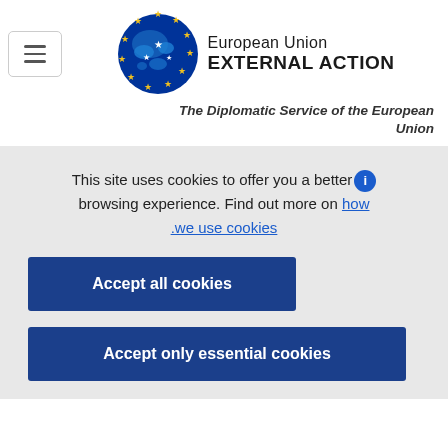[Figure (logo): European Union External Action logo: EU globe with stars and text 'European Union EXTERNAL ACTION']
The Diplomatic Service of the European Union
This site uses cookies to offer you a better browsing experience. Find out more on how we use cookies
Accept all cookies
Accept only essential cookies